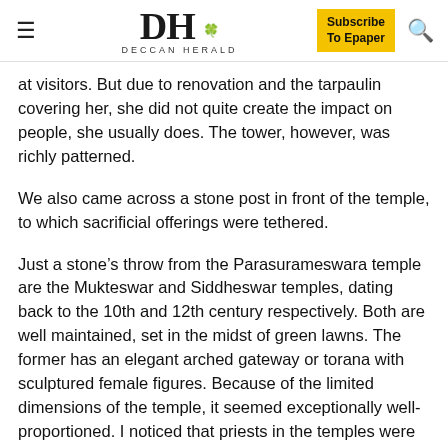DH DECCAN HERALD | Subscribe To Epaper
at visitors. But due to renovation and the tarpaulin covering her, she did not quite create the impact on people, she usually does. The tower, however, was richly patterned.
We also came across a stone post in front of the temple, to which sacrificial offerings were tethered.
Just a stone’s throw from the Parasurameswara temple are the Mukteswar and Siddheswar temples, dating back to the 10th and 12th century respectively. Both are well maintained, set in the midst of green lawns. The former has an elegant arched gateway or torana with sculptured female figures. Because of the limited dimensions of the temple, it seemed exceptionally well-proportioned. I noticed that priests in the temples were clad in brightly coloured lungis.